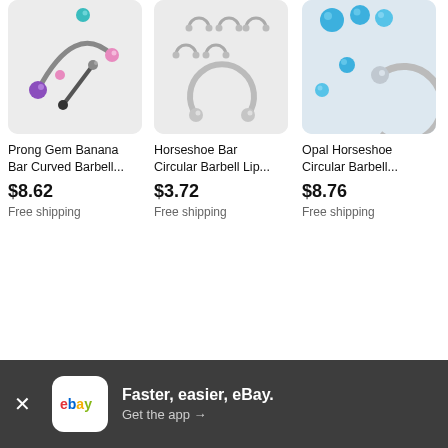[Figure (photo): Product image of Prong Gem Banana Bar Curved Barbell jewelry on light gray background]
Prong Gem Banana Bar Curved Barbell...
$8.62
Free shipping
[Figure (photo): Product image of Horseshoe Bar Circular Barbell Lip piercing jewelry on light gray background]
Horseshoe Bar Circular Barbell Lip...
$3.72
Free shipping
[Figure (photo): Product image of Opal Horseshoe Circular Barbell jewelry on light blue-gray background]
Opal Horseshoe Circular Barbell...
$8.76
Free shipping
Faster, easier, eBay. Get the app →